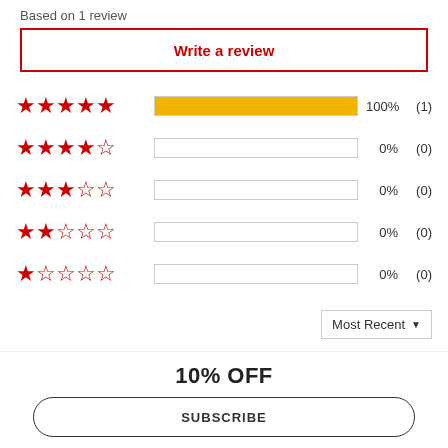Based on 1 review
Write a review
[Figure (bar-chart): Star rating distribution]
Most Recent
12/29/2021
10% OFF
SUBSCRIBE